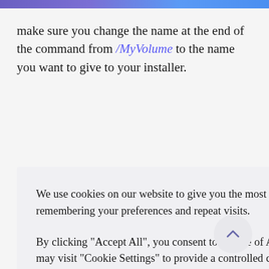make sure you change the name at the end of the command from /MyVolume to the name you want to give to your installer.
We use cookies on our website to give you the most relevant experience by remembering your preferences and repeat visits.

By clicking "Accept All", you consent to the use of ALL the cookies. However, you may visit "Cookie Settings" to provide a controlled consent.